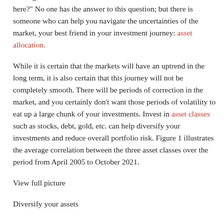coming back to investors' minds is still the same: 'Where from here?' No one has the answer to this question; but there is someone who can help you navigate the uncertainties of the market, your best friend in your investment journey: asset allocation.
While it is certain that the markets will have an uptrend in the long term, it is also certain that this journey will not be completely smooth. There will be periods of correction in the market, and you certainly don't want those periods of volatility to eat up a large chunk of your investments. Invest in asset classes such as stocks, debt, gold, etc. can help diversify your investments and reduce overall portfolio risk. Figure 1 illustrates the average correlation between the three asset classes over the period from April 2005 to October 2021.
View full picture
Diversify your assets